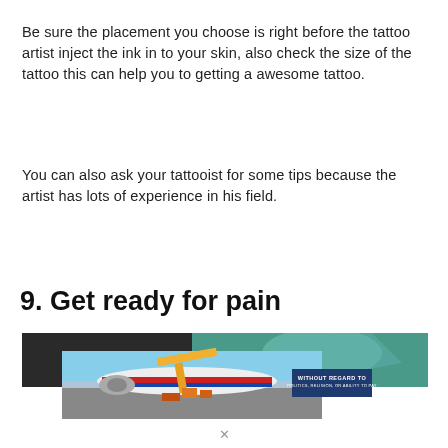Be sure the placement you choose is right before the tattoo artist inject the ink in to your skin, also check the size of the tattoo this can help you to getting a awesome tattoo.
You can also ask your tattooist for some tips because the artist has lots of experience in his field.
9. Get ready for pain
[Figure (photo): Advertisement banner showing an airplane being loaded with cargo, with text 'WITHOUT REGARD TO POLITICS, RELIGION, OR ABILITY TO PAY']